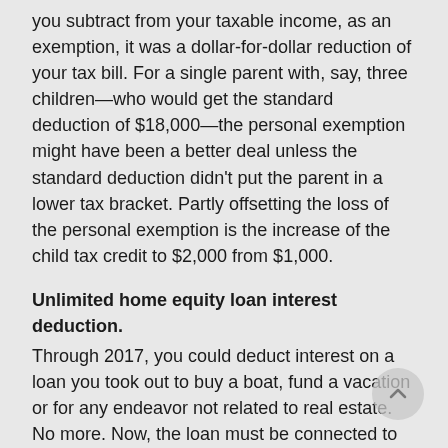you subtract from your taxable income, as an exemption, it was a dollar-for-dollar reduction of your tax bill. For a single parent with, say, three children—who would get the standard deduction of $18,000—the personal exemption might have been a better deal unless the standard deduction didn't put the parent in a lower tax bracket. Partly offsetting the loss of the personal exemption is the increase of the child tax credit to $2,000 from $1,000.
Unlimited home equity loan interest deduction.
Through 2017, you could deduct interest on a loan you took out to buy a boat, fund a vacation or for any endeavor not related to real estate. No more. Now, the loan must be connected to home improvement. What's more, the total of the mortgage and the home equity loan can't be more than $750,000.